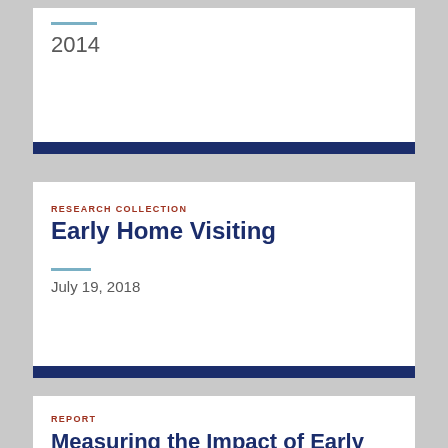2014
RESEARCH COLLECTION
Early Home Visiting
July 19, 2018
REPORT
Measuring the Impact of Early Home Visiting Programs